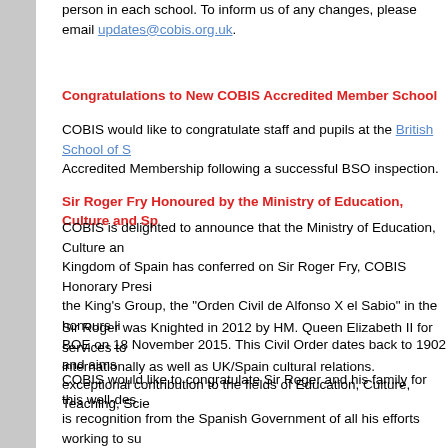person in each school. To inform us of any changes, please email updates@cobis.org.uk.
Congratulations to New COBIS Accredited Member School
COBIS would like to congratulate staff and pupils at the British School of S... Accredited Membership following a successful BSO inspection.
Sir Roger Fry Honoured by the Ministry of Education, Culture and Sp...
COBIS is delighted to announce that the Ministry of Education, Culture an... Kingdom of Spain has conferred on Sir Roger Fry, COBIS Honorary Presi... the King's Group, the "Orden Civil de Alfonso X el Sabio" in the honours li... BOE on 18 November 2015. This Civil Order dates back to 1902 and aims... exceptional contribution to the fields of Education, Culture, Teaching, Scie...
Sir Roger was Knighted in 2012 by HM. Queen Elizabeth II for services to... internationally as well as UK/Spain cultural relations.
COBIS would like to congratulate Sir Roger and his family for this well-des... is recognition from the Spanish Government of all his efforts working to su... Education in Spain.
British School Jakarta wins ‘British International School of the Year’
Representatives from COBIS were delighted to attend the 2015 TES Inde... 27th November, where COBIS Member school the British School Jakarta ...